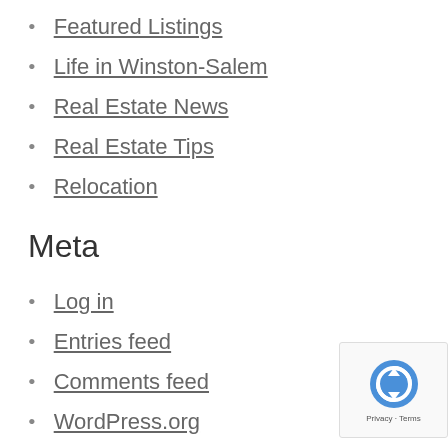Featured Listings
Life in Winston-Salem
Real Estate News
Real Estate Tips
Relocation
Meta
Log in
Entries feed
Comments feed
WordPress.org